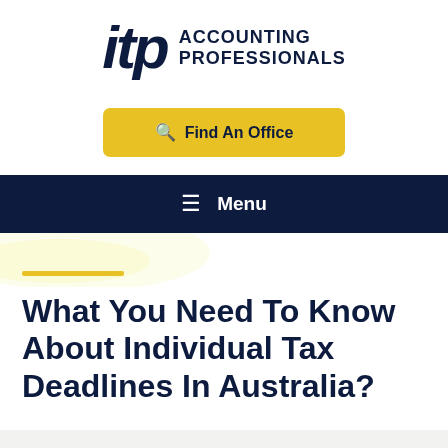[Figure (logo): ITP Accounting Professionals logo with stylized 'itp' text in italic bold navy and 'ACCOUNTING PROFESSIONALS' in bold navy uppercase]
Find An Office
Menu
What You Need To Know About Individual Tax Deadlines In Australia?